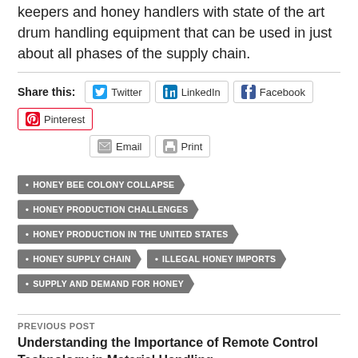keepers and honey handlers with state of the art drum handling equipment that can be used in just about all phases of the supply chain.
Share this: Twitter LinkedIn Facebook Pinterest Email Print
HONEY BEE COLONY COLLAPSE
HONEY PRODUCTION CHALLENGES
HONEY PRODUCTION IN THE UNITED STATES
HONEY SUPPLY CHAIN
ILLEGAL HONEY IMPORTS
SUPPLY AND DEMAND FOR HONEY
PREVIOUS POST
Understanding the Importance of Remote Control Technology in Material Handling
NEXT POST